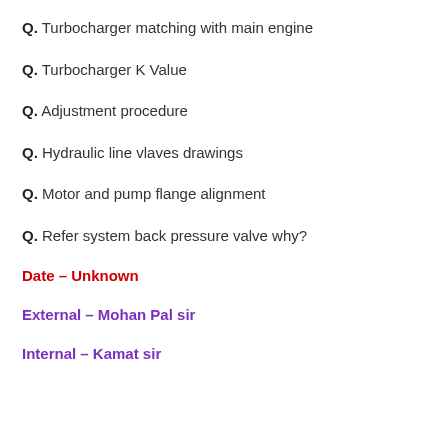Q. Turbocharger matching with main engine
Q. Turbocharger K Value
Q. Adjustment procedure
Q. Hydraulic line vlaves drawings
Q. Motor and pump flange alignment
Q. Refer system back pressure valve why?
Date – Unknown
External – Mohan Pal sir
Internal – Kamat sir